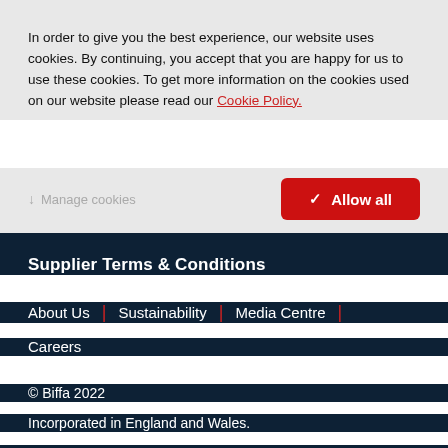In order to give you the best experience, our website uses cookies. By continuing, you accept that you are happy for us to use these cookies. To get more information on the cookies used on our website please read our Cookie Policy.
Manage cookies
Allow all
Supplier Terms & Conditions
About Us | Sustainability | Media Centre |
Careers
© Biffa 2022
Incorporated in England and Wales.